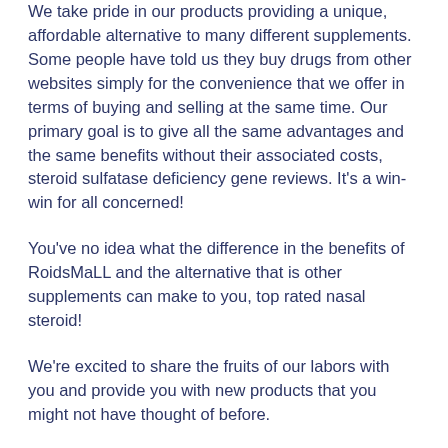We take pride in our products providing a unique, affordable alternative to many different supplements. Some people have told us they buy drugs from other websites simply for the convenience that we offer in terms of buying and selling at the same time. Our primary goal is to give all the same advantages and the same benefits without their associated costs, steroid sulfatase deficiency gene reviews. It's a win-win for all concerned!
You've no idea what the difference in the benefits of RoidsMaLL and the alternative that is other supplements can make to you, top rated nasal steroid!
We're excited to share the fruits of our labors with you and provide you with new products that you might not have thought of before.